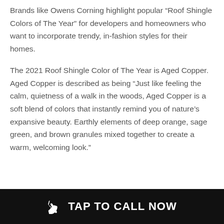Brands like Owens Corning highlight popular “Roof Shingle Colors of The Year” for developers and homeowners who want to incorporate trendy, in-fashion styles for their homes.
The 2021 Roof Shingle Color of The Year is Aged Copper. Aged Copper is described as being “Just like feeling the calm, quietness of a walk in the woods, Aged Copper is a soft blend of colors that instantly remind you of nature’s expansive beauty. Earthly elements of deep orange, sage green, and brown granules mixed together to create a warm, welcoming look.”
TAP TO CALL NOW